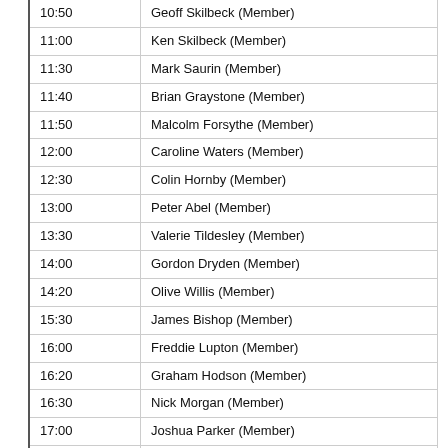| Time | Name |
| --- | --- |
| 10:50 | Geoff Skilbeck (Member) |
| 11:00 | Ken Skilbeck (Member) |
| 11:30 | Mark Saurin (Member) |
| 11:40 | Brian Graystone (Member) |
| 11:50 | Malcolm Forsythe (Member) |
| 12:00 | Caroline Waters (Member) |
| 12:30 | Colin Hornby (Member) |
| 13:00 | Peter Abel (Member) |
| 13:30 | Valerie Tildesley (Member) |
| 14:00 | Gordon Dryden (Member) |
| 14:20 | Olive Willis (Member) |
| 15:30 | James Bishop (Member) |
| 16:00 | Freddie Lupton (Member) |
| 16:20 | Graham Hodson (Member) |
| 16:30 | Nick Morgan (Member) |
| 17:00 | Joshua Parker (Member) |
| 17:10 | Peter Greenwood (Member) |
| 17:20 | James Richardson (Visitor) |